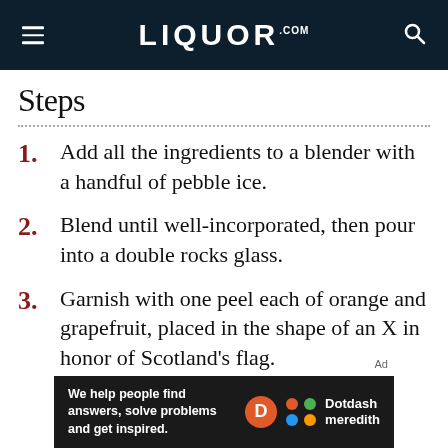LIQUOR.COM
Steps
Add all the ingredients to a blender with a handful of pebble ice.
Blend until well-incorporated, then pour into a double rocks glass.
Garnish with one peel each of orange and grapefruit, placed in the shape of an X in honor of Scotland's flag.
[Figure (infographic): Dotdash Meredith advertisement bar: 'We help people find answers, solve problems and get inspired.' with D logo and colorful dots logo]